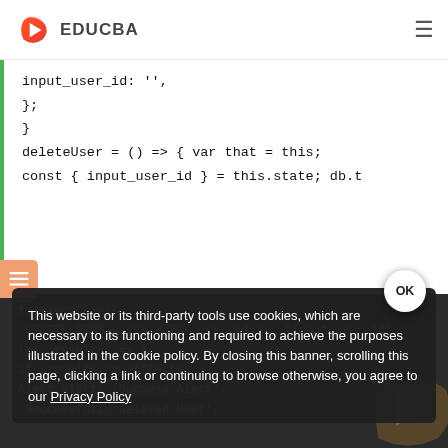EDUCBA
[Figure (screenshot): Code snippet showing JavaScript with input_user_id, deleteUser function, and db transaction calls on white background with green left border]
[Figure (screenshot): Dark background code panel showing tx.executeSql, input_user_id, tx.results, rowsAffected, Alert.alert Success Alert, Successfully deleted User]
This website or its third-party tools use cookies, which are necessary to its functioning and required to achieve the purposes illustrated in the cookie policy. By closing this banner, scrolling this page, clicking a link or continuing to browse otherwise, you agree to our Privacy Policy